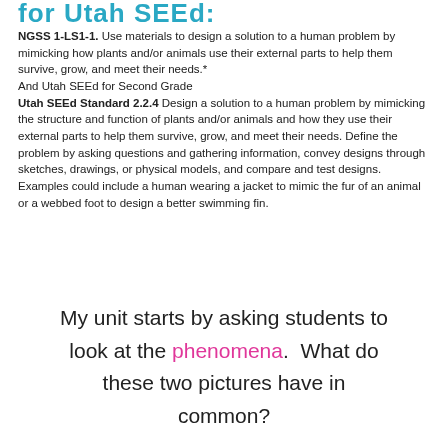for Utah SEEd:
NGSS 1-LS1-1. Use materials to design a solution to a human problem by mimicking how plants and/or animals use their external parts to help them survive, grow, and meet their needs.* And Utah SEEd for Second Grade Utah SEEd Standard 2.2.4 Design a solution to a human problem by mimicking the structure and function of plants and/or animals and how they use their external parts to help them survive, grow, and meet their needs. Define the problem by asking questions and gathering information, convey designs through sketches, drawings, or physical models, and compare and test designs. Examples could include a human wearing a jacket to mimic the fur of an animal or a webbed foot to design a better swimming fin.
My unit starts by asking students to look at the phenomena.  What do these two pictures have in common?